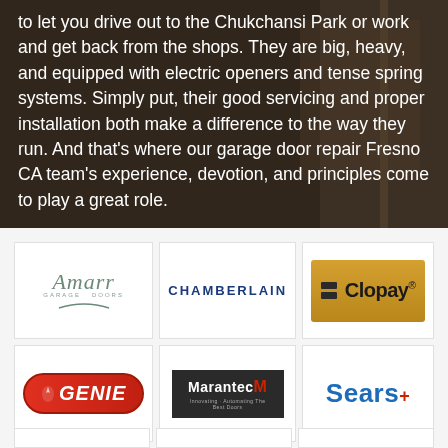to let you drive out to the Chukchansi Park or work and get back from the shops. They are big, heavy, and equipped with electric openers and tense spring systems. Simply put, their good servicing and proper installation both make a difference to the way they run. And that's where our garage door repair Fresno CA team's experience, devotion, and principles come to play a great role.
[Figure (logo): Amarr Garage Doors logo]
[Figure (logo): Chamberlain logo]
[Figure (logo): Clopay logo on gold/yellow background]
[Figure (logo): Genie logo on red pill/oval background]
[Figure (logo): Marantec logo with red M on dark background]
[Figure (logo): Sears logo in blue with red plus sign]